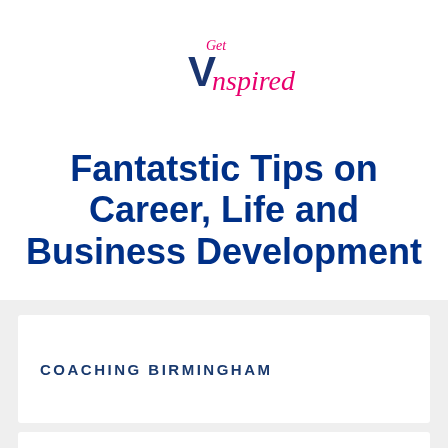[Figure (logo): Get Vinspired logo: 'Get' in hot pink script, 'V' in navy blue bold, 'inspired' in hot pink handwritten/script style]
Fantatstic Tips on Career, Life and Business Development
COACHING BIRMINGHAM